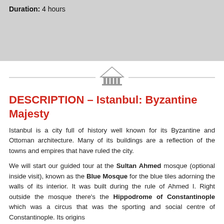Duration: 4 hours
[Figure (illustration): Decorative divider with a grey building/museum icon (pillar/temple silhouette) centered between two horizontal lines]
DESCRIPTION – Istanbul: Byzantine Majesty
Istanbul is a city full of history well known for its Byzantine and Ottoman architecture. Many of its buildings are a reflection of the towns and empires that have ruled the city.
We will start our guided tour at the Sultan Ahmed mosque (optional inside visit), known as the Blue Mosque for the blue tiles adorning the walls of its interior. It was built during the rule of Ahmed I. Right outside the mosque there's the Hippodrome of Constantinople which was a circus that was the sporting and social centre of Constantinople. Its origins